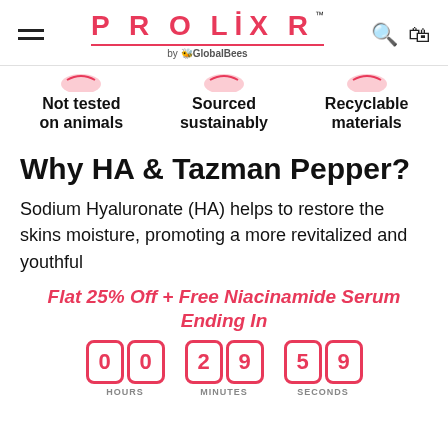PROLIXR by GlobalBees
Not tested on animals
Sourced sustainably
Recyclable materials
Why HA & Tazman Pepper?
Sodium Hyaluronate (HA) helps to restore the skins moisture, promoting a more revitalized and youthful
Flat 25% Off + Free Niacinamide Serum Ending In
00 HOURS 29 MINUTES 59 SECONDS